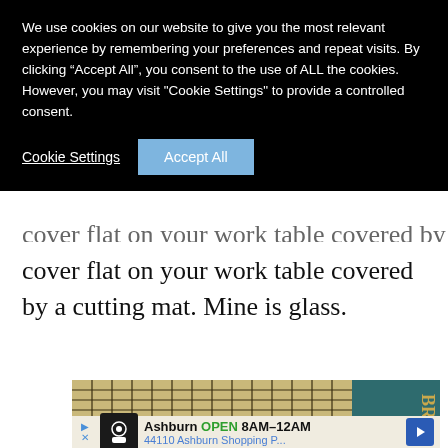We use cookies on our website to give you the most relevant experience by remembering your preferences and repeat visits. By clicking “Accept All”, you consent to the use of ALL the cookies. However, you may visit "Cookie Settings" to provide a controlled consent.
Cookie Settings | Accept All
cover flat on your work table covered by a cutting mat. Mine is glass.
[Figure (photo): Close-up photo of a ruled grid cutting mat with a book spine visible on the right side showing partial text 'RINGER' or 'BRINGER' in gold lettering on dark teal binding.]
Ashburn OPEN 8AM-12AM 44110 Ashburn Shopping P...